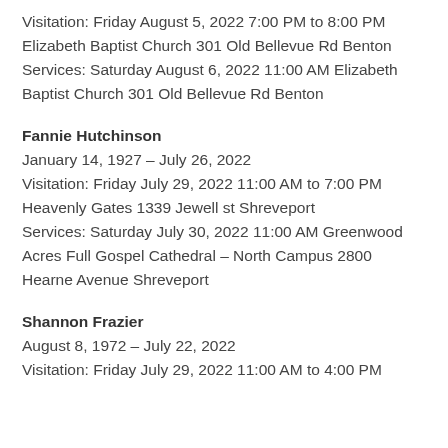Visitation: Friday August 5, 2022 7:00 PM to 8:00 PM Elizabeth Baptist Church 301 Old Bellevue Rd Benton
Services: Saturday August 6, 2022 11:00 AM Elizabeth Baptist Church 301 Old Bellevue Rd Benton
Fannie Hutchinson
January 14, 1927 – July 26, 2022
Visitation: Friday July 29, 2022 11:00 AM to 7:00 PM Heavenly Gates 1339 Jewell st Shreveport
Services: Saturday July 30, 2022 11:00 AM Greenwood Acres Full Gospel Cathedral – North Campus 2800 Hearne Avenue Shreveport
Shannon Frazier
August 8, 1972 – July 22, 2022
Visitation: Friday July 29, 2022 11:00 AM to 4:00 PM